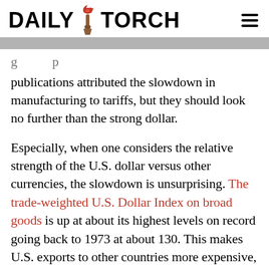DAILY TORCH
publications attributed the slowdown in manufacturing to tariffs, but they should look no further than the strong dollar.
Especially, when one considers the relative strength of the U.S. dollar versus other currencies, the slowdown is unsurprising. The trade-weighted U.S. Dollar Index on broad goods is up at about its highest levels on record going back to 1973 at about 130. This makes U.S. exports to other countries more expensive, and imports to the U.S. from overseas cheaper.